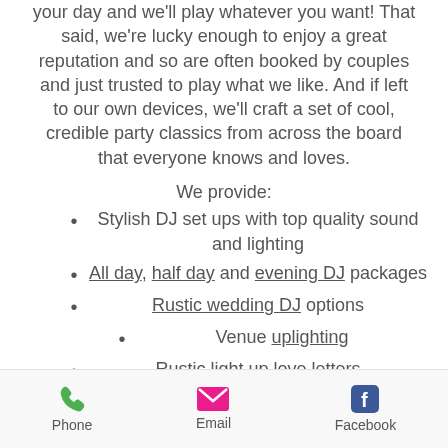your day and we'll play whatever you want! That said, we're lucky enough to enjoy a great reputation and so are often booked by couples and just trusted to play what we like. And if left to our own devices, we'll craft a set of cool, credible party classics from across the board that everyone knows and loves.
We provide:
Stylish DJ set ups with top quality sound and lighting
All day, half day and evening DJ packages
Rustic wedding DJ options
Venue uplighting
Rustic light up love letters
Silent discos
Magic mirror photo booths
Phone  Email  Facebook